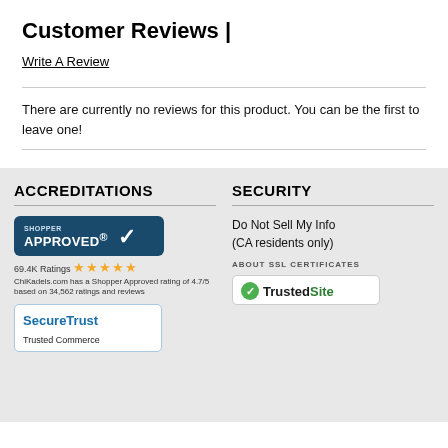Customer Reviews |
Write A Review
There are currently no reviews for this product. You can be the first to leave one!
ACCREDITATIONS
SECURITY
[Figure (logo): Shopper Approved badge with 69.4K Ratings and 5 gold stars. Text: ChiKadels.com has a Shopper Approved rating of 4.7/5 based on 34,562 ratings and reviews]
[Figure (logo): SecureTrust Trusted Commerce logo]
Do Not Sell My Info (CA residents only)
ABOUT SSL CERTIFICATES
[Figure (logo): TrustedSite logo with green checkmark]